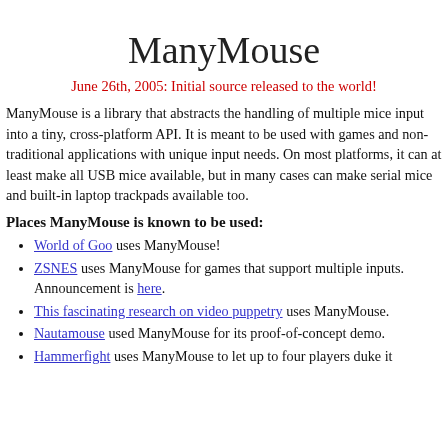ManyMouse
June 26th, 2005: Initial source released to the world!
ManyMouse is a library that abstracts the handling of multiple mice input into a tiny, cross-platform API. It is meant to be used with games and non-traditional applications with unique input needs. On most platforms, it can at least make all USB mice available, but in many cases can make serial mice and built-in laptop trackpads available too.
Places ManyMouse is known to be used:
World of Goo uses ManyMouse!
ZSNES uses ManyMouse for games that support multiple inputs. Announcement is here.
This fascinating research on video puppetry uses ManyMouse.
Nautamouse used ManyMouse for its proof-of-concept demo.
Hammerfight uses ManyMouse to let up to four players duke it